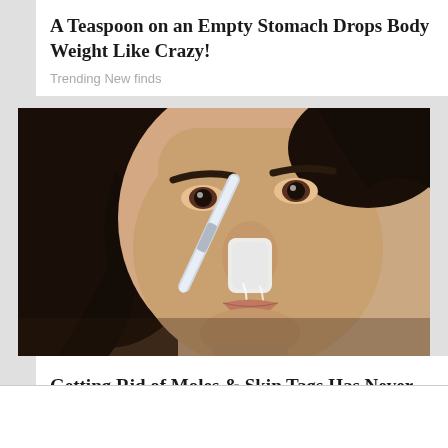A Teaspoon on an Empty Stomach Drops Body Weight Like Crazy!
Trending New finds
[Figure (photo): Close-up photo of a woman with dark hair applying something white to her nose with a tool, possibly a pore strip or nose treatment.]
Getting Rid of Moles & Skin Tags Has Never Been So Simple